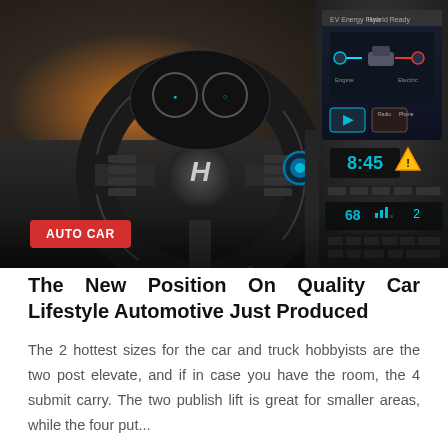[Figure (photo): Close-up photo of the interior of a Hyundai car showing the steering wheel with Hyundai logo and controls, dashboard with digital displays, center console with blue-lit controls, climate controls, and infotainment screen showing energy/hybrid readout. A red badge reads AUTO CAR in the lower left.]
The New Position On Quality Car Lifestyle Automotive Just Produced
The 2 hottest sizes for the car and truck hobbyists are the two post elevate, and if in case you have the room, the 4 submit carry. The two publish lift is great for smaller areas, while the four put...